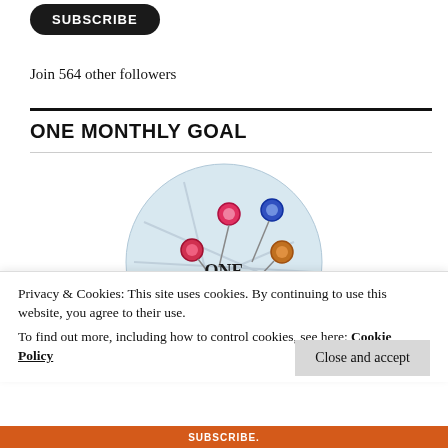[Figure (other): Black rounded rectangle SUBSCRIBE button]
Join 564 other followers
ONE MONTHLY GOAL
[Figure (illustration): Circular logo image for 'One Monthly Goal' by Elm Street Quilts, showing colorful pins on a map with bold text reading ONE MONTHLY GOAL and Elm Street Quilts]
Privacy & Cookies: This site uses cookies. By continuing to use this website, you agree to their use.
To find out more, including how to control cookies, see here: Cookie Policy
Close and accept